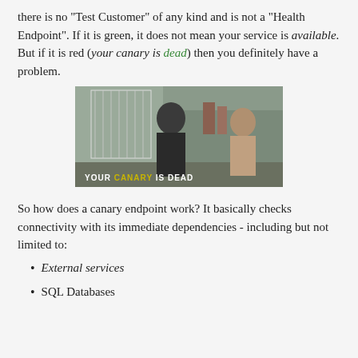there is no "Test Customer" of any kind and is not a "Health Endpoint". If it is green, it does not mean your service is available. But if it is red (your canary is dead) then you definitely have a problem.
[Figure (photo): A still from a TV show or movie showing two men at a shop counter with a bird cage in the background. Text overlay reads: YOUR CANARY IS DEAD]
So how does a canary endpoint work? It basically checks connectivity with its immediate dependencies - including but not limited to:
External services
SQL Databases